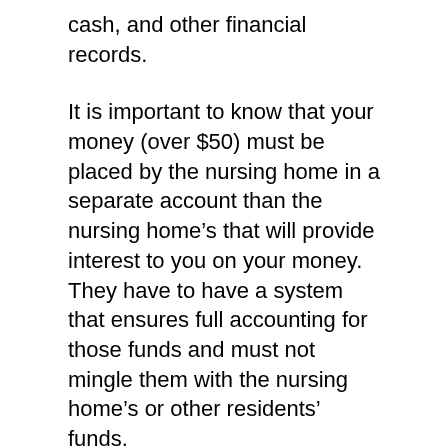cash, and other financial records.
It is important to know that your money (over $50) must be placed by the nursing home in a separate account than the nursing home’s that will provide interest to you on your money. They have to have a system that ensures full accounting for those funds and must not mingle them with the nursing home’s or other residents’ funds.
If the nursing home puts many residents’ funds together, the nursing home must account for each person’s funds separately. They must give you quarterly statements and your individual financial record must be given to you when you or your legal representative asks for it.